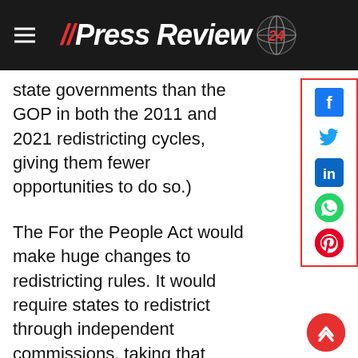//PressReview 24
state governments than the GOP in both the 2011 and 2021 redistricting cycles, giving them fewer opportunities to do so.)
The For the People Act would make huge changes to redistricting rules. It would require states to redistrict through independent commissions, taking that process out of legislators' hands. The catch is that many of the bill's supporters privately concede it is almost surely too late to set up those commissions for the 2021-’22 redistricting cycle.
So, this time around, what would likely matter most are new standards the bill sets for what will count as illegal partisan gerrymandering. If state legislature majorities